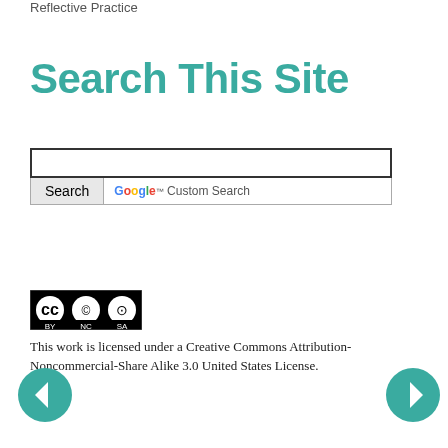Reflective Practice
Search This Site
[Figure (screenshot): Search box with Google Custom Search button]
[Figure (logo): Creative Commons BY NC SA license badge]
This work is licensed under a Creative Commons Attribution-Noncommercial-Share Alike 3.0 United States License.
[Figure (infographic): Left navigation arrow circle button]
[Figure (infographic): Right navigation arrow circle button]